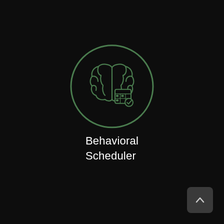[Figure (logo): A circular green outline icon containing a brain with a checklist/calendar overlaid at the bottom right, rendered in green on a dark background]
Behavioral Scheduler
[Figure (other): A dark gray rounded square button with an upward-pointing chevron arrow (back to top button) in the bottom right corner]